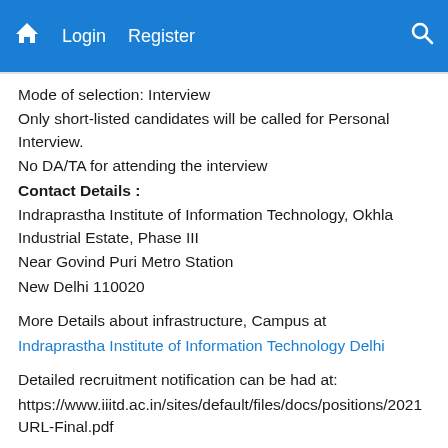Home Login Register Search
Mode of selection: Interview
Only short-listed candidates will be called for Personal Interview.
No DA/TA for attending the interview
Contact Details :
Indraprastha Institute of Information Technology, Okhla Industrial Estate, Phase III
Near Govind Puri Metro Station
New Delhi 110020
More Details about infrastructure, Campus at
Indraprastha Institute of Information Technology Delhi
Detailed recruitment notification can be had at:
https://www.iiitd.ac.in/sites/default/files/docs/positions/2021 URL-Final.pdf
About Employer